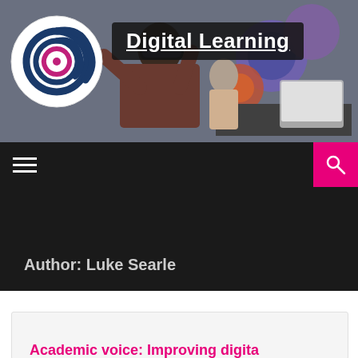[Figure (photo): Child wearing VR headset in a classroom with colorful mechanical gears in the background]
Digital Learning
☰ [navigation menu] [search button]
Author: Luke Searle
Academic voice: Improving digita...